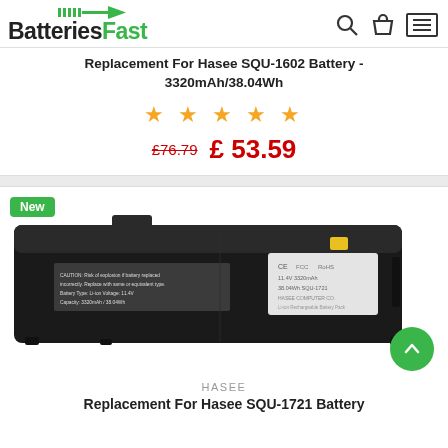[Figure (logo): BatteriesFast logo with green arrow and battery icon]
Replacement For Hasee SQU-1602 Battery - 3320mAh/38.04Wh
★ ★ ★ ★ ★ (star rating)
£76.79  £ 53.59
[Figure (photo): Laptop battery product photo - long slim black battery pack with yellow sticker and labels on white background. New badge in top left corner.]
HASEE
Replacement For Hasee SQU-1721 Battery